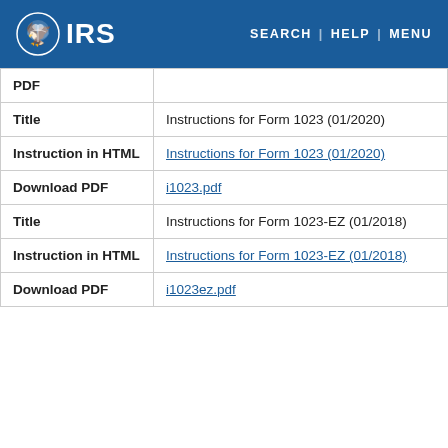IRS — SEARCH | HELP | MENU
| Label | Value |
| --- | --- |
| PDF |  |
| Title | Instructions for Form 1023 (01/2020) |
| Instruction in HTML | Instructions for Form 1023 (01/2020) |
| Download PDF | i1023.pdf |
| Title | Instructions for Form 1023-EZ (01/2018) |
| Instruction in HTML | Instructions for Form 1023-EZ (01/2018) |
| Download PDF | i1023ez.pdf |